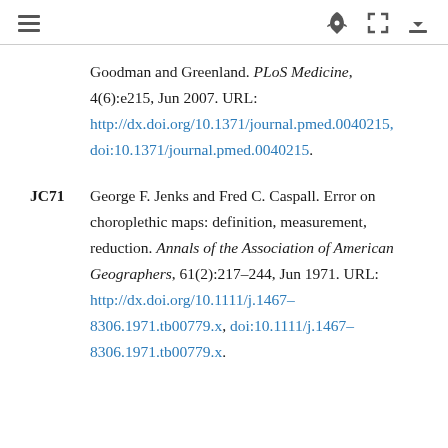[hamburger menu] [rocket icon] [expand icon] [download icon]
Goodman and Greenland. PLoS Medicine, 4(6):e215, Jun 2007. URL: http://dx.doi.org/10.1371/journal.pmed.0040215, doi:10.1371/journal.pmed.0040215.
JC71  George F. Jenks and Fred C. Caspall. Error on choroplethic maps: definition, measurement, reduction. Annals of the Association of American Geographers, 61(2):217–244, Jun 1971. URL: http://dx.doi.org/10.1111/j.1467-8306.1971.tb00779.x, doi:10.1111/j.1467-8306.1971.tb00779.x.